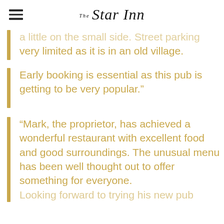The Star Inn
a little on the small side. Street parking very limited as it is in an old village.
Early booking is essential as this pub is getting to be very popular.”
“Mark, the proprietor, has achieved a wonderful restaurant with excellent food and good surroundings. The unusual menu has been well thought out to offer something for everyone. Looking forward to trying his new pub